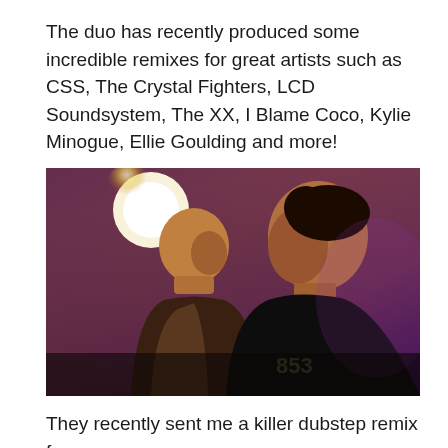The duo has recently produced some incredible remixes for great artists such as CSS, The Crystal Fighters, LCD Soundsystem, The XX, I Blame Coco, Kylie Minogue, Ellie Goulding and more!
[Figure (photo): Two young men in profile view against a dark orange/amber and purple background with a bright circular light source behind the left figure. The person on the left wears a jacket, the person on the right wears a black t-shirt with a graphic design.]
They recently sent me a killer dubstep remix for